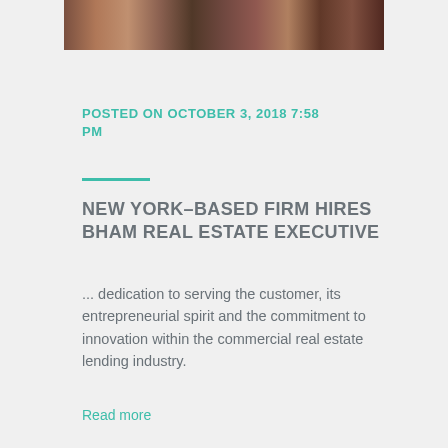[Figure (photo): Partial photo of people or a building, cropped at the top of the page]
POSTED ON OCTOBER 3, 2018 7:58 PM
NEW YORK–BASED FIRM HIRES BHAM REAL ESTATE EXECUTIVE
... dedication to serving the customer, its entrepreneurial spirit and the commitment to innovation within the commercial real estate lending industry.
Read more